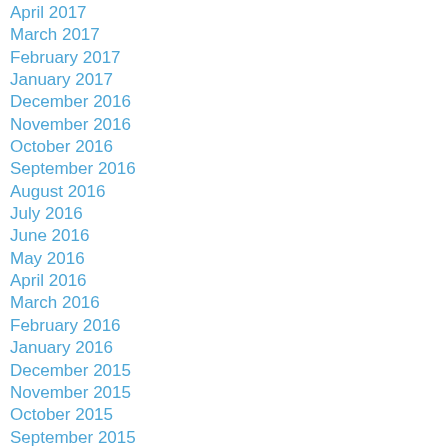April 2017
March 2017
February 2017
January 2017
December 2016
November 2016
October 2016
September 2016
August 2016
July 2016
June 2016
May 2016
April 2016
March 2016
February 2016
January 2016
December 2015
November 2015
October 2015
September 2015
August 2015